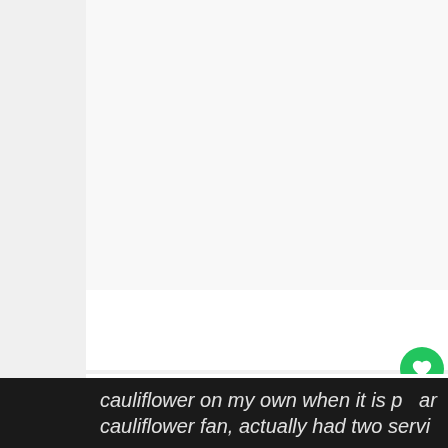[Figure (photo): A mostly white/light gray image area (photo content not visible in this crop)]
This is so amazingly delicious...I ca 3 e
cauliflower on my own when it is p < ar
cauliflower fan, actually had two servi